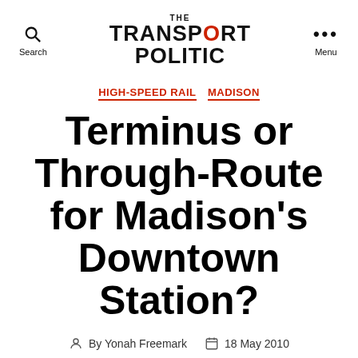THE TRANSPORT POLITIC
HIGH-SPEED RAIL   MADISON
Terminus or Through-Route for Madison's Downtown Station?
By Yonah Freemark   18 May 2010